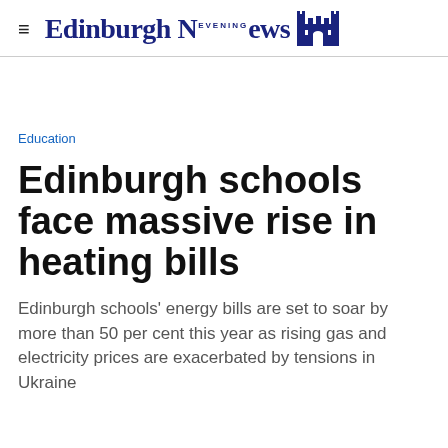Edinburgh Evening News
Education
Edinburgh schools face massive rise in heating bills
Edinburgh schools' energy bills are set to soar by more than 50 per cent this year as rising gas and electricity prices are exacerbated by tensions in Ukraine